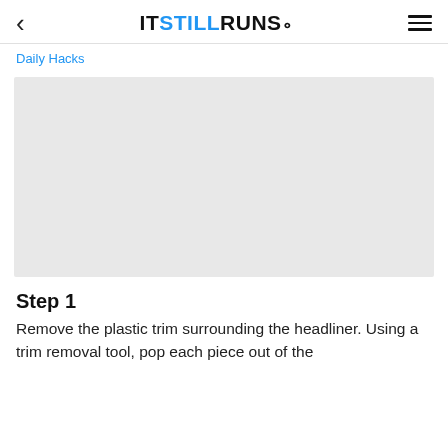< ITSTILLRUNS. ≡
Daily Hacks
[Figure (photo): Gray placeholder image for step 1 of the headliner trim removal tutorial]
Step 1
Remove the plastic trim surrounding the headliner. Using a trim removal tool, pop each piece out of the